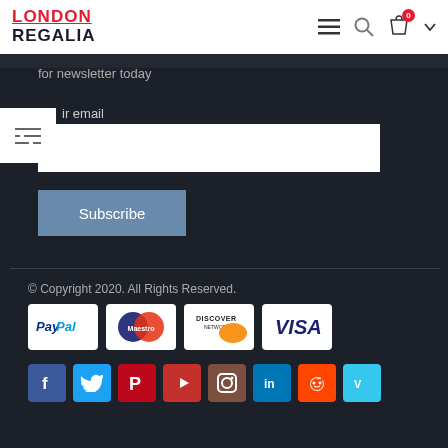[Figure (logo): London Regalia logo with red LONDON text and black REGALIA text]
for newsletter today
ir email
[Figure (other): Subscribe button]
© Copyright 2020. All Rights Reserved.
[Figure (other): Payment method logos: PayPal, Maestro, Discover Network, Visa]
[Figure (other): Social media icons: Facebook, Twitter, Pinterest, YouTube, Instagram, LinkedIn, Reddit, Vimeo]